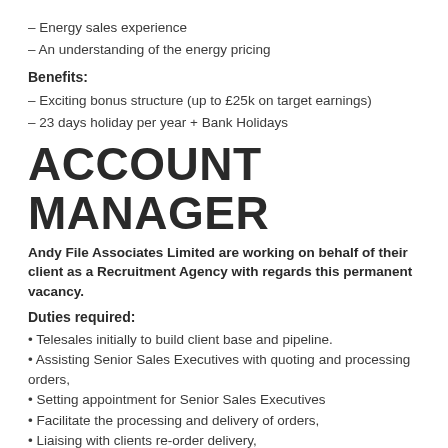– Energy sales experience
– An understanding of the energy pricing
Benefits:
– Exciting bonus structure (up to £25k on target earnings)
– 23 days holiday per year + Bank Holidays
ACCOUNT MANAGER
Andy File Associates Limited are working on behalf of their client as a Recruitment Agency with regards this permanent vacancy.
Duties required:
• Telesales initially to build client base and pipeline.
• Assisting Senior Sales Executives with quoting and processing orders,
• Setting appointment for Senior Sales Executives
• Facilitate the processing and delivery of orders,
• Liaising with clients re-order delivery,
• Obtaining the correct documentation from clients/suppliers to facilitate invoicing,
• Liaising with suppliers to ensure best price is always obtained,